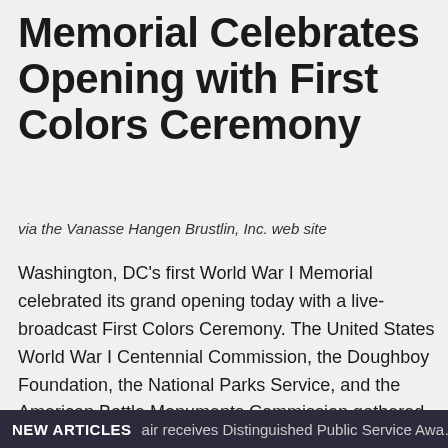Memorial Celebrates Opening with First Colors Ceremony
via the Vanasse Hangen Brustlin, Inc. web site
Washington, DC's first World War I Memorial celebrated its grand opening today with a live-broadcast First Colors Ceremony. The United States World War I Centennial Commission, the Doughboy Foundation, the National Parks Service, and the American Battle Monuments Commission gathered together virtually with people across the Nation to watch the historic inaugural raising of the American Flag at a site dedicated to honor the service of 4.7 million World War I Veterans. This 75-minute program, led by award-winning actor and humanitarian Gary Sinise, featured military fanfare,
NEW ARTICLES  air receives Distinguished Public Service Award